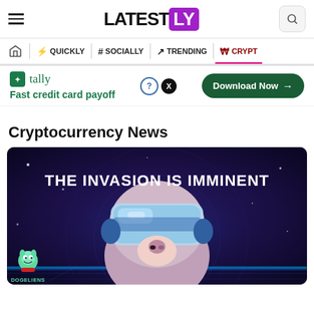LATESTLY
QUICKLY | # SOCIALLY | TRENDING | CRYPTO
[Figure (infographic): Tally advertisement banner: Fast credit card payoff. Download Now button with close X button.]
Cryptocurrency News
[Figure (illustration): Promotional image with dark purple/blue background showing a dog wearing a VR/space helmet. Text reads 'THE INVASION IS IMMINENT'. Dogeliens logo in bottom left corner.]